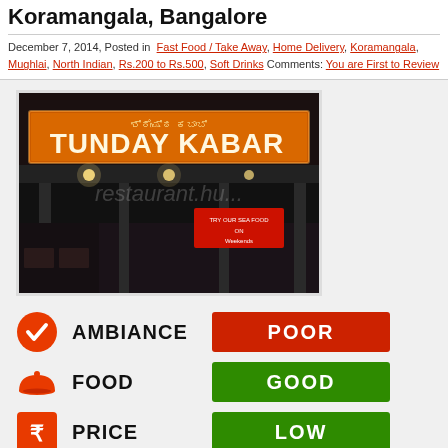Koramangala, Bangalore
December 7, 2014, Posted in Fast Food / Take Away, Home Delivery, Koramangala, Mughlai, North Indian, Rs.200 to Rs.500, Soft Drinks Comments: You are First to Review
[Figure (photo): Exterior photo of Tunday Kabab restaurant at night, illuminated signage visible]
[Figure (infographic): Restaurant ratings: Ambiance - POOR (red), Food - GOOD (green), Price - LOW (green)]